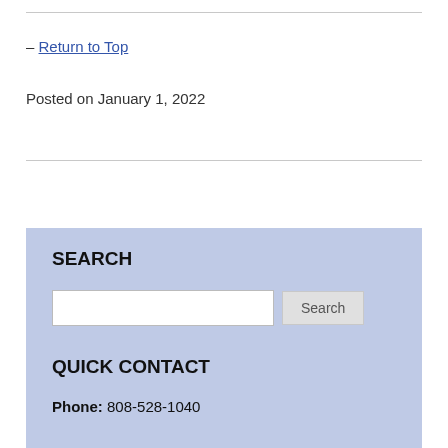– Return to Top
Posted on January 1, 2022
SEARCH
QUICK CONTACT
Phone: 808-528-1040